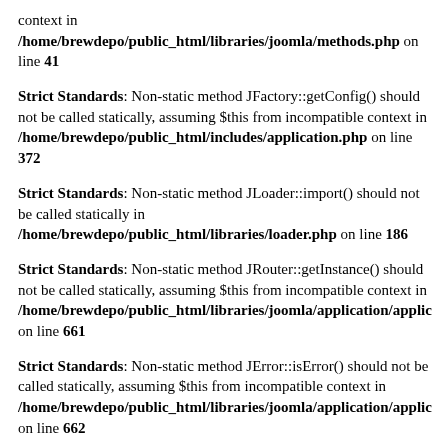context in /home/brewdepo/public_html/libraries/joomla/methods.php on line 41
Strict Standards: Non-static method JFactory::getConfig() should not be called statically, assuming $this from incompatible context in /home/brewdepo/public_html/includes/application.php on line 372
Strict Standards: Non-static method JLoader::import() should not be called statically in /home/brewdepo/public_html/libraries/loader.php on line 186
Strict Standards: Non-static method JRouter::getInstance() should not be called statically, assuming $this from incompatible context in /home/brewdepo/public_html/libraries/joomla/application/applic on line 661
Strict Standards: Non-static method JError::isError() should not be called statically, assuming $this from incompatible context in /home/brewdepo/public_html/libraries/joomla/application/applic on line 662
Strict Standards: Non-static method JSite::getMenu() should not